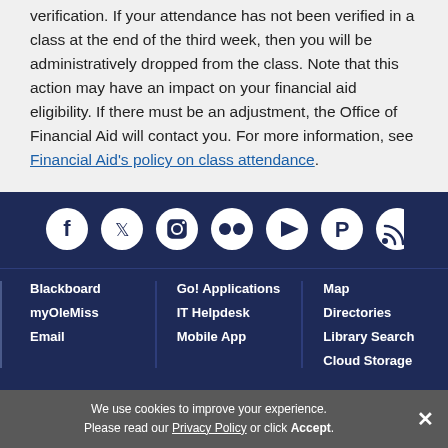verification. If your attendance has not been verified in a class at the end of the third week, then you will be administratively dropped from the class. Note that this action may have an impact on your financial aid eligibility. If there must be an adjustment, the Office of Financial Aid will contact you. For more information, see Financial Aid's policy on class attendance.
[Figure (other): Row of social media icons (Facebook, Twitter, Instagram, Flickr, YouTube, Pinterest, RSS) in white on dark navy background]
Blackboard | myOleMiss | Email | Go! Applications | IT Helpdesk | Mobile App | Map | Directories | Library Search | Cloud Storage
[Figure (logo): Ole Miss cursive red script logo]
We use cookies to improve your experience. Please read our Privacy Policy or click Accept.